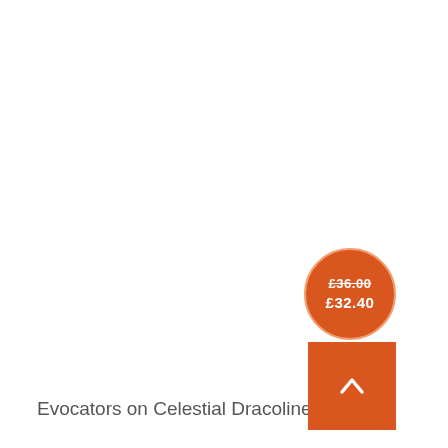[Figure (other): Price badge circle showing original price £36.00 struck through and discounted price £32.40 in white text on orange background with orange border, above an orange square scroll-to-top button with white chevron]
Evocators on Celestial Dracolines